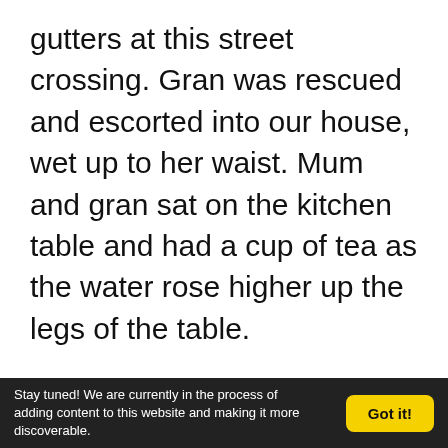gutters at this street crossing. Gran was rescued and escorted into our house, wet up to her waist. Mum and gran sat on the kitchen table and had a cup of tea as the water rose higher up the legs of the table.
I made an attempt to wade out of the flood wearing my bathing togs, however I only got to the fence of the paddock next to our house, and the water being up to my chest and as cold as it was, I could not bear the though of pressing on 200 yards or more through that icy water. So I decided to go
Stay tuned! We are currently in the process of adding content to this website and making it more discoverable.